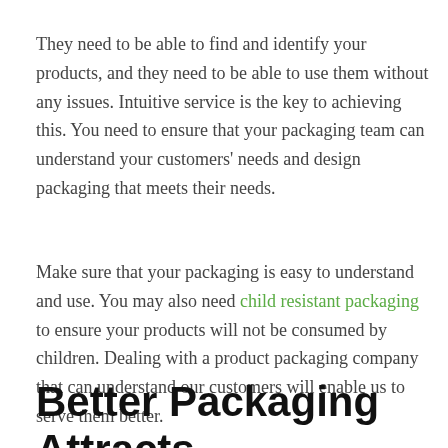They need to be able to find and identify your products, and they need to be able to use them without any issues. Intuitive service is the key to achieving this. You need to ensure that your packaging team can understand your customers' needs and design packaging that meets their needs.
Make sure that your packaging is easy to understand and use. You may also need child resistant packaging to ensure your products will not be consumed by children. Dealing with a product packaging company that can understand our customers will enable us to serve them better.
Better Packaging Attracts